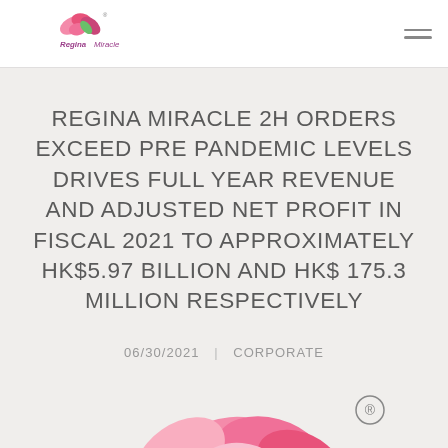Regina Miracle (logo) | hamburger menu
REGINA MIRACLE 2H ORDERS EXCEED PRE PANDEMIC LEVELS DRIVES FULL YEAR REVENUE AND ADJUSTED NET PROFIT IN FISCAL 2021 TO APPROXIMATELY HK$5.97 BILLION AND HK$ 175.3 MILLION RESPECTIVELY
06/30/2021  |  CORPORATE
[Figure (illustration): Pink floral decorative illustration with registered trademark symbol at bottom of page]